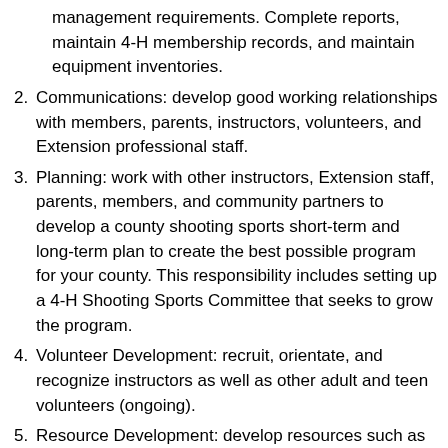(continuation) management requirements. Complete reports, maintain 4-H membership records, and maintain equipment inventories.
2. Communications: develop good working relationships with members, parents, instructors, volunteers, and Extension professional staff.
3. Planning: work with other instructors, Extension staff, parents, members, and community partners to develop a county shooting sports short-term and long-term plan to create the best possible program for your county. This responsibility includes setting up a 4-H Shooting Sports Committee that seeks to grow the program.
4. Volunteer Development: recruit, orientate, and recognize instructors as well as other adult and teen volunteers (ongoing).
5. Resource Development: develop resources such as cash, equipment, use of facilities, and keep financial and asset records in accordance with Iowa 4-H policy.
6. Promote the 4-H SESS program to youth, families, and